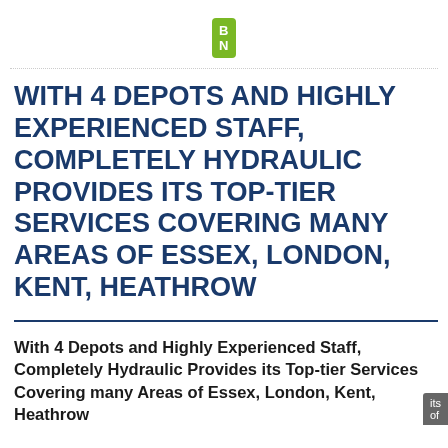[Figure (logo): BN logo — white bold letters 'BN' on a green rounded-rectangle background]
WITH 4 DEPOTS AND HIGHLY EXPERIENCED STAFF, COMPLETELY HYDRAULIC PROVIDES ITS TOP-TIER SERVICES COVERING MANY AREAS OF ESSEX, LONDON, KENT, HEATHROW
With 4 Depots and Highly Experienced Staff, Completely Hydraulic Provides its Top-tier Services Covering many Areas of Essex, London, Kent, Heathrow